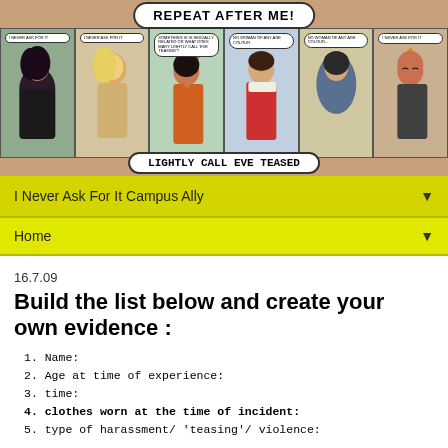[Figure (illustration): Comic strip banner showing multiple panels with characters and speech bubbles. Top speech bubble reads 'REPEAT AFTER ME!' and bottom bubble reads 'LIGHTLY CALL EVE TEASED'. Panels show various comic book characters including women and men with speech bubbles saying 'I NEVER ASK FOR IT'.]
I Never Ask For It Campus Ally
Home
16.7.09
Build the list below and create your own evidence :
1. Name:
2. Age at time of experience:
3. time:
4. clothes worn at the time of incident:
5. type of harassment/ 'teasing'/ violence: